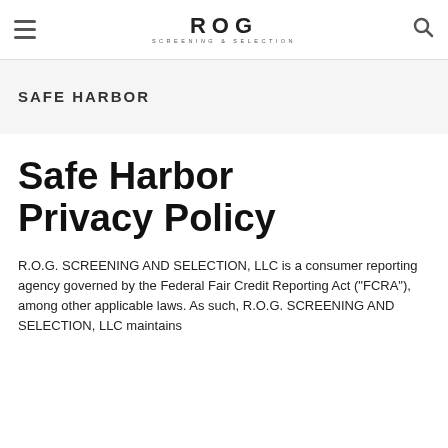ROG SCREENING & SELECTION
SAFE HARBOR
Safe Harbor Privacy Policy
R.O.G. SCREENING AND SELECTION, LLC is a consumer reporting agency governed by the Federal Fair Credit Reporting Act ("FCRA"), among other applicable laws. As such, R.O.G. SCREENING AND SELECTION, LLC maintains